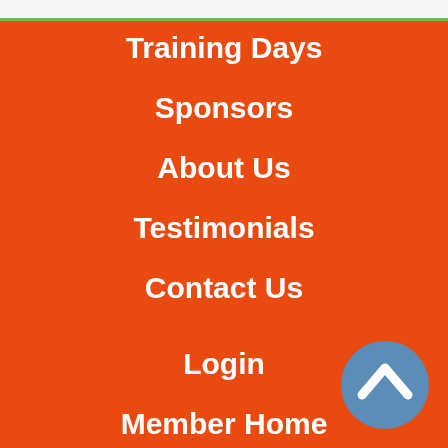Training Days
Sponsors
About Us
Testimonials
Contact Us
Login
Member Home
Account
Cart
Checkout
[Figure (illustration): Blue circular scroll-to-top button with upward chevron arrow, bottom-right corner]